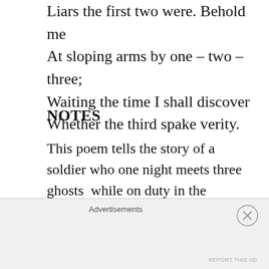Liars the first two were. Behold me
At sloping arms by one – two – three;
Waiting the time I shall discover
Whether the third spake verity.
NOTES
This poem tells the story of a soldier who one night meets three ghosts  while on duty in the trenches. They each prophesy a different fate for the man, and the soldier is forced to contemplate how the war will end for him.
Advertisements